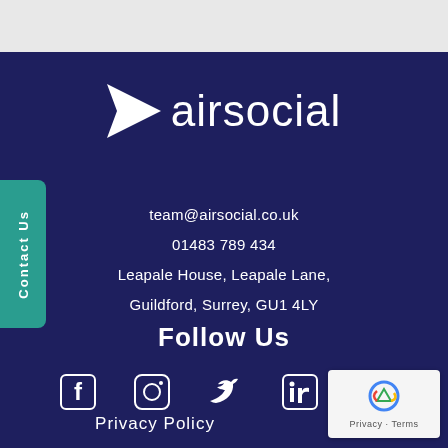[Figure (logo): Airsocial logo: white paper plane triangle icon followed by the word 'airsocial' in white light-weight font]
team@airsocial.co.uk
01483 789 434
Leapale House, Leapale Lane,
Guildford, Surrey, GU1 4LY
Follow Us
[Figure (infographic): Social media icons: Facebook, Instagram, Twitter, LinkedIn — all white on dark navy background]
Privacy Policy